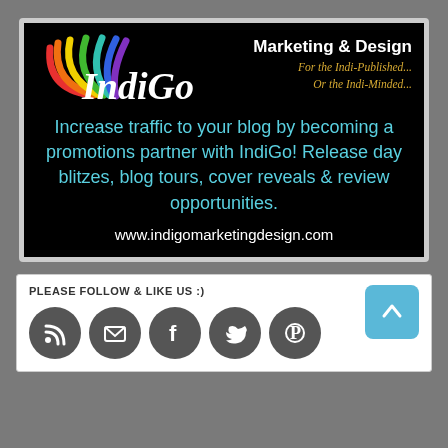[Figure (logo): IndiGo Marketing & Design logo with rainbow fan/book pages graphic and italic IndiGo text, with tagline 'Marketing & Design / For the Indi-Published... / Or the Indi-Minded...']
Increase traffic to your blog by becoming a promotions partner with IndiGo! Release day blitzes, blog tours, cover reveals & review opportunities.
www.indigomarketingdesign.com
PLEASE FOLLOW & LIKE US :)
[Figure (infographic): Row of 5 dark grey social media icon circles: RSS, Email/Follow, Facebook, Twitter, Pinterest. Plus a blue back-to-top arrow button.]